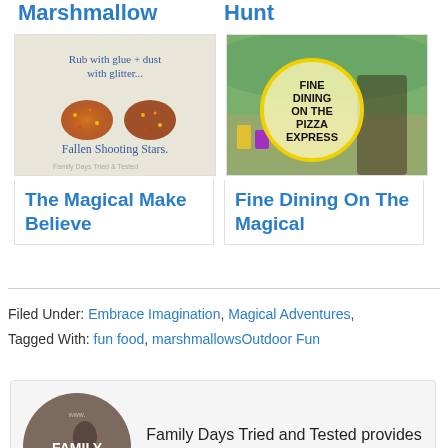Marshmallow
Hunt
[Figure (photo): Two glitter-covered rocks on white background with handwritten text 'Rub with glue + dust with glitter... Fallen Shooting Stars.' and watermark 'Family Days Tried & Tested']
[Figure (photo): Photo of child with circular badge overlay reading 'FINE DINING ON THE PIZZA EXPRESS' with yellow border, outdoor/restaurant background]
The Magical Make Believe
Fine Dining On The Magical
Filed Under: Embrace Imagination, Magical Adventures,
Tagged With: fun food, marshmallowsOutdoor Fun
[Figure (logo): Circular dark brown logo with text 'www. FAMILY DAYS TRIED' in white, with silhouette of person]
Family Days Tried and Tested provides inspiration and